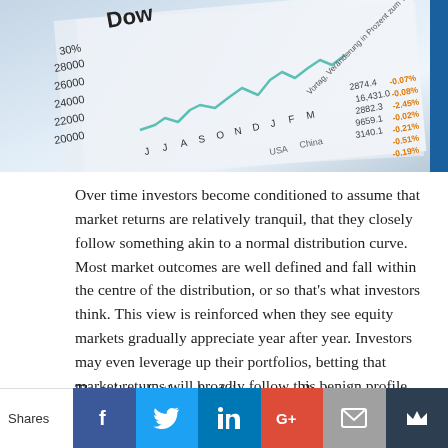[Figure (photo): A photo of a financial newspaper or screen showing stock market data including Dow Jones chart with values like 28000, 26000, 24000, 22000, 20000, and percentage changes in orange text like -0.07%, -0.08%, -2.45%, -0.02%, -0.21%, -0.51%, -0.19%, with months labeled J J A S O N D J F M]
Over time investors become conditioned to assume that market returns are relatively tranquil, that they closely follow something akin to a normal distribution curve. Most market outcomes are well defined and fall within the centre of the distribution, or so that's what investors think. This view is reinforced when they see equity markets gradually appreciate year after year. Investors may even leverage up their portfolios, betting that market returns will broadly follow this benign profile.
The tails at both ends of the curve reflect extreme
Shares | Facebook | Twitter | LinkedIn | Google+ | Email | Bookmark